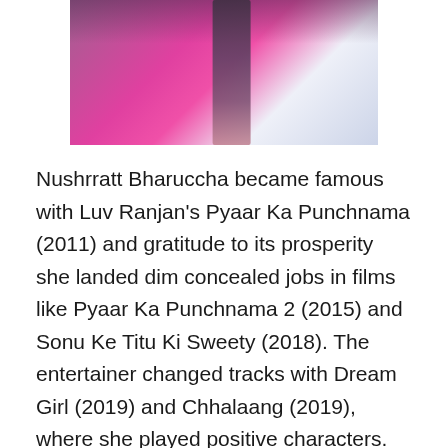[Figure (photo): A photo of Nushrratt Bharuccha, partially visible from behind, wearing a bright pink/magenta outfit with dark hair]
Nushrratt Bharuccha became famous with Luv Ranjan's Pyaar Ka Punchnama (2011) and gratitude to its prosperity she landed dim concealed jobs in films like Pyaar Ka Punchnama 2 (2015) and Sonu Ke Titu Ki Sweety (2018). The entertainer changed tracks with Dream Girl (2019) and Chhalaang (2019), where she played positive characters. With Ajeeb Daastaans (2021), she had returned to playing a curved person. Her job as a house keeper in the Raj Mehta coordinated portion got much